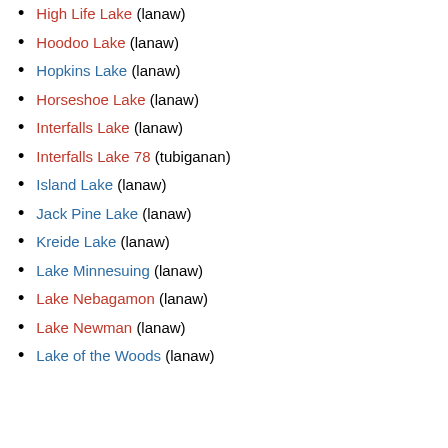High Life Lake (lanaw)
Hoodoo Lake (lanaw)
Hopkins Lake (lanaw)
Horseshoe Lake (lanaw)
Interfalls Lake (lanaw)
Interfalls Lake 78 (tubiganan)
Island Lake (lanaw)
Jack Pine Lake (lanaw)
Kreide Lake (lanaw)
Lake Minnesuing (lanaw)
Lake Nebagamon (lanaw)
Lake Newman (lanaw)
Lake of the Woods (lanaw)